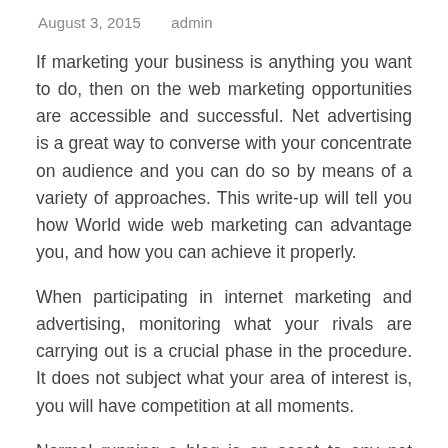August 3, 2015    admin
If marketing your business is anything you want to do, then on the web marketing opportunities are accessible and successful. Net advertising is a great way to converse with your concentrate on audience and you can do so by means of a variety of approaches. This write-up will tell you how World wide web marketing can advantage you, and how you can achieve it properly.
When participating in internet marketing and advertising, monitoring what your rivals are carrying out is a crucial phase in the procedure. It does not subject what your area of interest is, you will have competition at all moments.
Normal running a blog is an asset to any net advertising campaign. A weblog gives you another way to talk with your customer base. By running a blog you not only grow your internet site, but you also have an possibility to